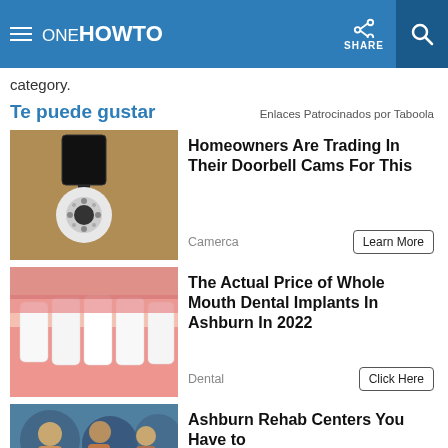oneHOWTO | SHARE
category.
Te puede gustar
Enlaces Patrocinados por Taboola
[Figure (photo): Outdoor light fixture with a security camera attached]
Homeowners Are Trading In Their Doorbell Cams For This
Camerca
Learn More
[Figure (photo): Close-up of teeth and gums — dental implants ad]
The Actual Price of Whole Mouth Dental Implants In Ashburn In 2022
Dental
Click Here
[Figure (photo): Group of people — Ashburn Rehab Centers ad]
Ashburn Rehab Centers You Have to See to Believe